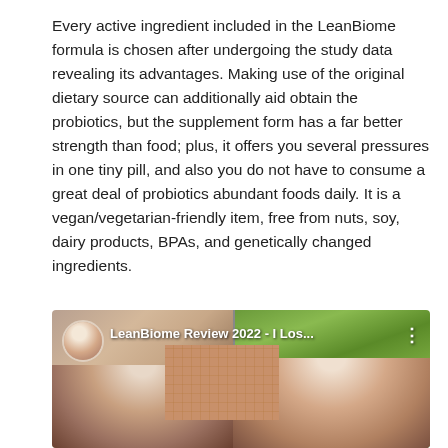Every active ingredient included in the LeanBiome formula is chosen after undergoing the study data revealing its advantages. Making use of the original dietary source can additionally aid obtain the probiotics, but the supplement form has a far better strength than food; plus, it offers you several pressures in one tiny pill, and also you do not have to consume a great deal of probiotics abundant foods daily. It is a vegan/vegetarian-friendly item, free from nuts, soy, dairy products, BPAs, and genetically changed ingredients.
[Figure (screenshot): Video thumbnail screenshot showing 'LeanBiome Review 2022 - I Los...' with a split view: left side shows a person's face close-up with mosaic/tiled background, right side shows an outdoor scene with trees. A circular avatar and three-dot menu icon are visible.]